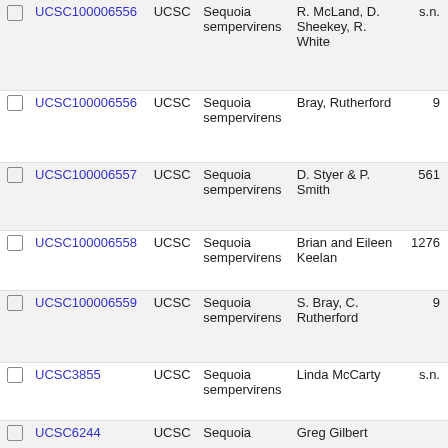|  | ID | Inst | Species | Collector | Count |
| --- | --- | --- | --- | --- | --- |
|  | UCSC100006556 (partial, top cut off) | UCSC | Sequoia sempervirens | R. McLand, D. Sheekey, R. White | s.n. |
|  | UCSC100006556 | UCSC | Sequoia sempervirens | Bray, Rutherford | 9 |
|  | UCSC100006557 | UCSC | Sequoia sempervirens | D. Styer & P. Smith | 561 |
|  | UCSC100006558 | UCSC | Sequoia sempervirens | Brian and Eileen Keelan | 1276 |
|  | UCSC100006559 | UCSC | Sequoia sempervirens | S. Bray, C. Rutherford | 9 |
|  | UCSC3855 | UCSC | Sequoia sempervirens | Linda McCarty | s.n. |
|  | UCSC6244 | UCSC | Sequoia | Greg Gilbert |  |